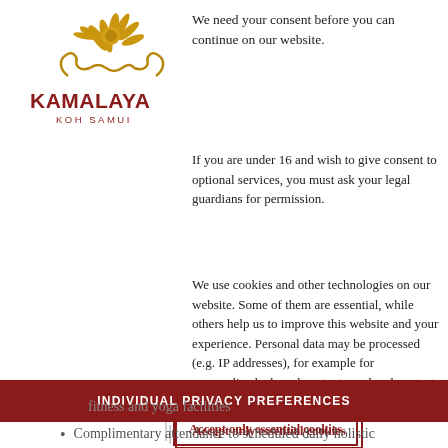[Figure (logo): Kamalaya Koh Samui logo with golden lotus/ornamental design above text]
We need your consent before you can continue on our website.
If you are under 16 and wish to give consent to optional services, you must ask your legal guardians for permission.
We use cookies and other technologies on our website. Some of them are essential, while others help us to improve this website and your experience. Personal data may be processed (e.g. IP addresses), for example for personalized ads and content or ad and content
Accept only essential cookies
I ACCEPT
INDIVIDUAL PRIVACY PREFERENCES
fitness and yoga facilities
Complimentary attendance to scheduled daily holistic